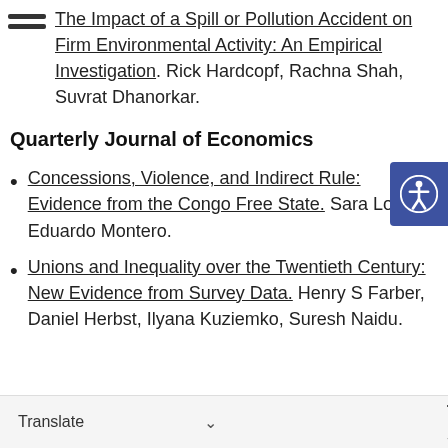The Impact of a Spill or Pollution Accident on Firm Environmental Activity: An Empirical Investigation. Rick Hardcopf, Rachna Shah, Suvrat Dhanorkar.
Quarterly Journal of Economics
Concessions, Violence, and Indirect Rule: Evidence from the Congo Free State. Sara Lowes, Eduardo Montero.
Unions and Inequality over the Twentieth Century: New Evidence from Survey Data. Henry S Farber, Daniel Herbst, Ilyana Kuziemko, Suresh Naidu.
ting Studies